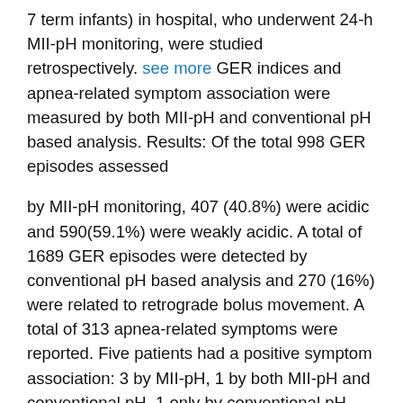7 term infants) in hospital, who underwent 24-h MII-pH monitoring, were studied retrospectively. see more GER indices and apnea-related symptom association were measured by both MII-pH and conventional pH based analysis. Results: Of the total 998 GER episodes assessed

by MII-pH monitoring, 407 (40.8%) were acidic and 590(59.1%) were weakly acidic. A total of 1689 GER episodes were detected by conventional pH based analysis and 270 (16%) were related to retrograde bolus movement. A total of 313 apnea-related symptoms were reported. Five patients had a positive symptom association: 3 by MII-pH, 1 by both MII-pH and conventional pH, 1 only by conventional pH. Conclusions: Addition of MII-pH monitoring to conventional pH monitoring improves the diagnostic yield of symptom association analysis in preterm infants and neonates with apnea-related symptoms. Conventional pH monitoring is still important in the era of impedance measurement." "Purpose of review